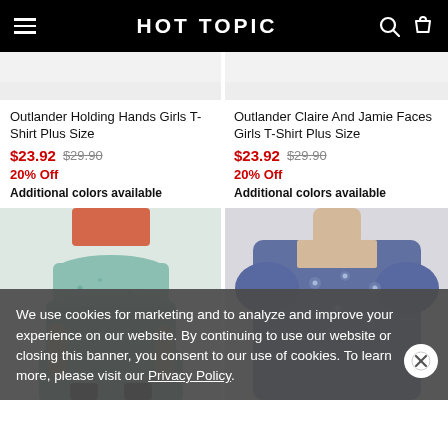HOT TOPIC
[Figure (photo): Cropped top of product image for Outlander Holding Hands Girls T-Shirt Plus Size (light gray background, partial product visible)]
Outlander Holding Hands Girls T-Shirt Plus Size
$23.92 $29.90
20% Off
Additional colors available
[Figure (photo): Cropped top of product image for Outlander Claire And Jamie Faces Girls T-Shirt Plus Size (light gray background, partial product visible)]
Outlander Claire And Jamie Faces Girls T-Shirt Plus Size
$23.92 $29.90
20% Off
Additional colors available
[Figure (photo): Product photo: model wearing a teal/mint floral tiered midi skirt with orange top. Bottom portion visible.]
[Figure (photo): Product photo: model wearing a blue/navy floral short-sleeve square-neck top. Upper portion visible.]
We use cookies for marketing and to analyze and improve your experience on our website. By continuing to use our website or closing this banner, you consent to our use of cookies. To learn more, please visit our Privacy Policy.